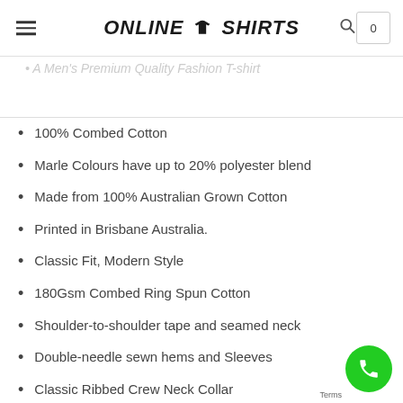ONLINE T-SHIRTS
Men Tee
A Men's Premium Quality Fashion T-shirt
100% Combed Cotton
Marle Colours have up to 20% polyester blend
Made from 100% Australian Grown Cotton
Printed in Brisbane Australia.
Classic Fit, Modern Style
180Gsm Combed Ring Spun Cotton
Shoulder-to-shoulder tape and seamed neck
Double-needle sewn hems and Sleeves
Classic Ribbed Crew Neck Collar
Side-seamed construction
Pre-shrunk to minimize shrinkage